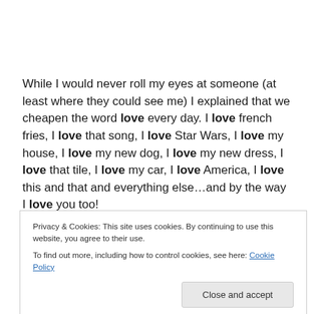While I would never roll my eyes at someone (at least where they could see me) I explained that we cheapen the word love every day. I love french fries, I love that song, I love Star Wars, I love my house, I love my new dog, I love my new dress, I love that tile, I love my car, I love America, I love this and that and everything else…and by the way I love you too!
Privacy & Cookies: This site uses cookies. By continuing to use this website, you agree to their use. To find out more, including how to control cookies, see here: Cookie Policy